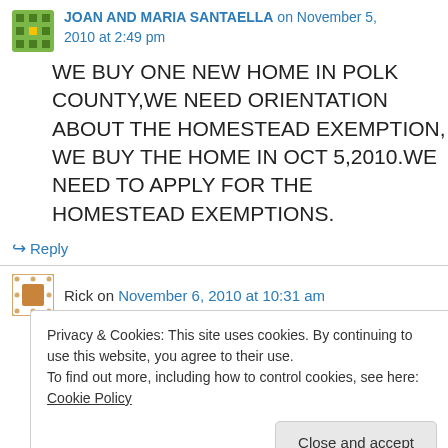JOAN AND MARIA SANTAELLA on November 5, 2010 at 2:49 pm
WE BUY ONE NEW HOME IN POLK COUNTY,WE NEED ORIENTATION ABOUT THE HOMESTEAD EXEMPTION, WE BUY THE HOME IN OCT 5,2010.WE NEED TO APPLY FOR THE HOMESTEAD EXEMPTIONS.
Reply
Rick on November 6, 2010 at 10:31 am
Privacy & Cookies: This site uses cookies. By continuing to use this website, you agree to their use.
To find out more, including how to control cookies, see here: Cookie Policy
Close and accept
without changing the title?